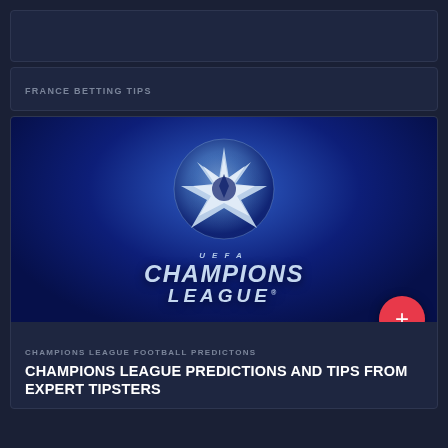FRANCE BETTING TIPS
[Figure (logo): UEFA Champions League logo: starball graphic above text reading UEFA CHAMPIONS LEAGUE on a dark blue background]
CHAMPIONS LEAGUE FOOTBALL PREDICTONS
CHAMPIONS LEAGUE PREDICTIONS AND TIPS FROM EXPERT TIPSTERS